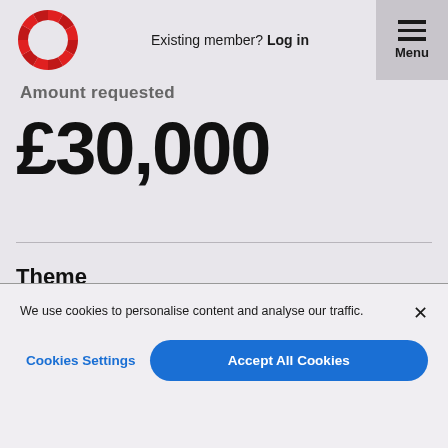[Figure (logo): Red circular segmented logo (Zopa / similar financial brand)]
Existing member? Log in
Menu
Amount requested
£30,000
Theme
We use cookies to personalise content and analyse our traffic.
Cookies Settings
Accept All Cookies